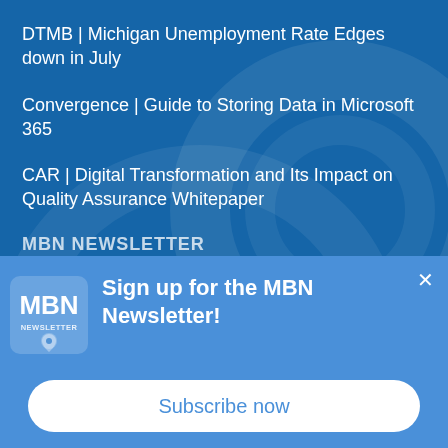DTMB | Michigan Unemployment Rate Edges down in July
Convergence | Guide to Storing Data in Microsoft 365
CAR | Digital Transformation and Its Impact on Quality Assurance Whitepaper
MBN NEWSLETTER
[Figure (logo): MBN NEWSLETTER logo with location pin icon]
Sign up for the MBN Newsletter!
Subscribe now